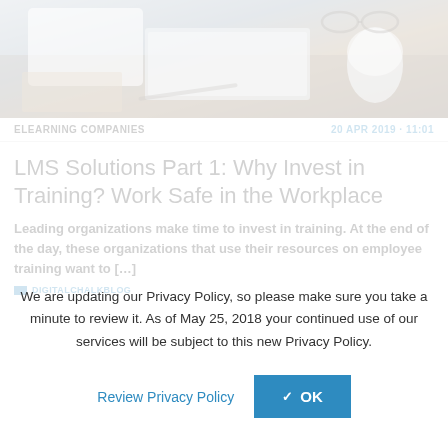[Figure (photo): Overhead photo of a desk with keyboard, mouse, tablet, pen, and glasses on a wooden surface]
ELEARNING COMPANIES    20 APR 2019 · 11:01
LMS Solutions Part 1: Why Invest in Training? Work Safe in the Workplace
Leading organizations make time to invest in training. At the end of the day, these organizations that use their resources on employee training want to […]
DIGITALCHALKBLOG
We are updating our Privacy Policy, so please make sure you take a minute to review it. As of May 25, 2018 your continued use of our services will be subject to this new Privacy Policy.